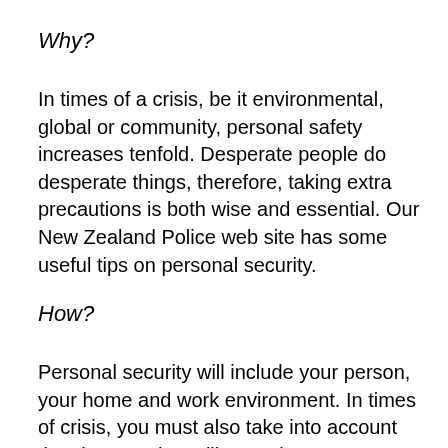Why?
In times of a crisis, be it environmental, global or community, personal safety increases tenfold.  Desperate people do desperate things, therefore, taking extra precautions is both wise and essential.  Our New Zealand Police web site has some useful tips on personal security.
How?
Personal security will include your person, your home and work environment.  In times of crisis, you must also take into account the changes that will occur in your immediate environment.  This could include looting, riots and an increase in burglaries.